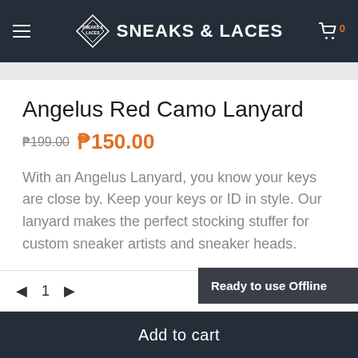SNEAKS & LACES
Angelus Red Camo Lanyard
₱199.00  ₱150.00
With an Angelus Lanyard, you know your keys are close by. Keep your keys or ID in style. Our lanyard makes the perfect stocking stuffer for custom sneaker artists and sneaker heads.
◄  1  ►
Ready to use Offline
Add to cart